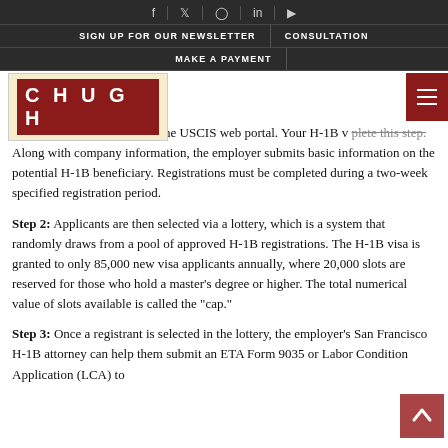Social media icons: f, twitter, instagram, in, youtube
SIGN UP FOR OUR NEWSLETTER | CONSULTATION
MAKE A PAYMENT
[Figure (logo): CHUGH law firm logo in red on cream background]
plying for an H-1B visa is to he USCIS web portal. Your H-1B v plete this step. Along with company information, the employer submits basic information on the potential H-1B beneficiary. Registrations must be completed during a two-week specified registration period.
Step 2: Applicants are then selected via a lottery, which is a system that randomly draws from a pool of approved H-1B registrations. The H-1B visa is granted to only 85,000 new visa applicants annually, where 20,000 slots are reserved for those who hold a master's degree or higher. The total numerical value of slots available is called the "cap."
Step 3: Once a registrant is selected in the lottery, the employer's San Francisco H-1B attorney can help them submit an ETA Form 9035 or Labor Condition Application (LCA) to